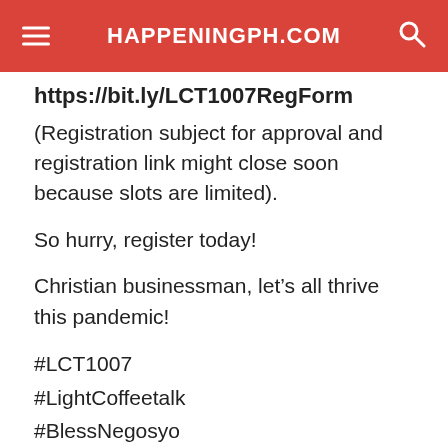HAPPENINGPH.COM
https://bit.ly/LCT1007RegForm
(Registration subject for approval and registration link might close soon because slots are limited).
So hurry, register today!
Christian businessman, let’s all thrive this pandemic!
#LCT1007
#LightCoffeetalk
#BlessNegosyo